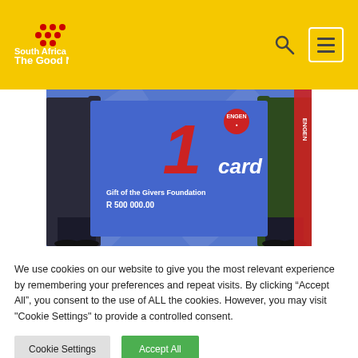South Africa The Good News
[Figure (photo): Two people holding a large blue Engen 1card check made out to Gift of the Givers Foundation for R 500 000.00]
We use cookies on our website to give you the most relevant experience by remembering your preferences and repeat visits. By clicking “Accept All”, you consent to the use of ALL the cookies. However, you may visit "Cookie Settings" to provide a controlled consent.
Cookie Settings
Accept All